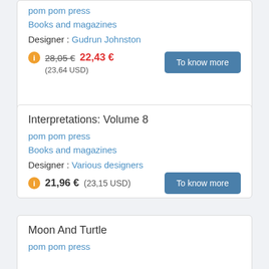pom pom press
Books and magazines
Designer : Gudrun Johnston
28,05 €  22,43 €  (23,64 USD)
To know more
Interpretations: Volume 8
pom pom press
Books and magazines
Designer : Various designers
21,96 €  (23,15 USD)
To know more
Moon And Turtle
pom pom press